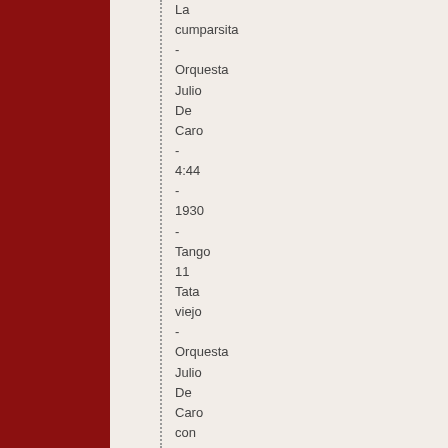La cumparsita - Orquesta Julio De Caro - 4:44 - 1930 - Tango
11 Tata viejo - Orquesta Julio De Caro con Luis Díaz - 2:55 - 1930 - Tango
12 Che panete - Orquesta Julio De Caro